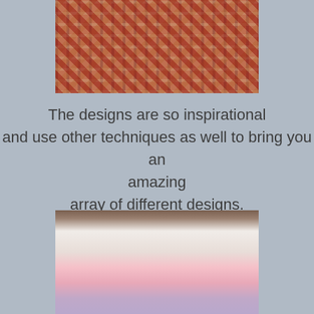[Figure (photo): Top portion of a red and cream quilt pattern displayed on a wall, showing intricate geometric designs with diagonal and cross patterns in dark red, burgundy, and cream tones.]
The designs are so inspirational and use other techniques as well to bring you an amazing array of different designs.
[Figure (photo): A bed scene with pink and white pillows, a white crocheted or knitted blanket, a pink lamp on a bedside table with decorative items, and a colorful quilt bedspread with geometric patterns in pink, purple, and white.]